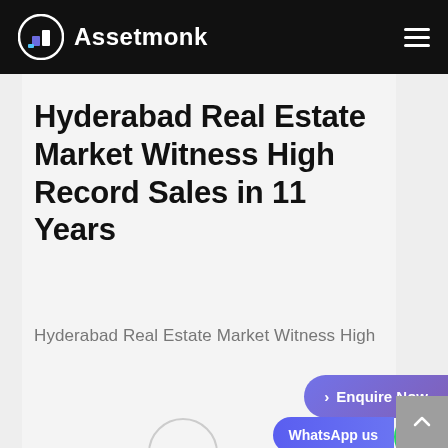Assetmonk
Hyderabad Real Estate Market Witness High Record Sales in 11 Years
Hyderabad Real Estate Market Witness High
> Enquire Now
WhatsApp us